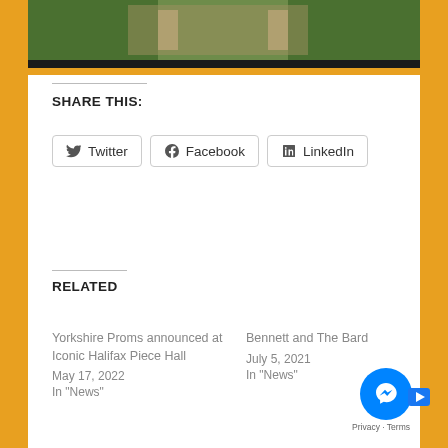[Figure (photo): Aerial or elevated view of a formal garden with trimmed hedges and gravel paths, partially cut off at top]
SHARE THIS:
Twitter  Facebook  LinkedIn
RELATED
Yorkshire Proms announced at Iconic Halifax Piece Hall
May 17, 2022
In "News"
Bennett and The Bard
July 5, 2021
In "News"